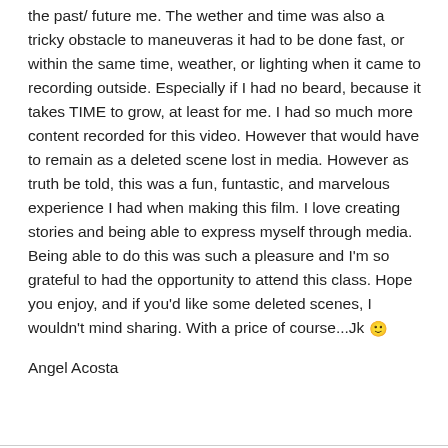the past/ future me. The wether and time was also a tricky obstacle to maneuveras it had to be done fast, or within the same time, weather, or lighting when it came to recording outside. Especially if I had no beard, because it takes TIME to grow, at least for me. I had so much more content recorded for this video. However that would have to remain as a deleted scene lost in media. However as truth be told, this was a fun, funtastic, and marvelous experience I had when making this film. I love creating stories and being able to express myself through media. Being able to do this was such a pleasure and I'm so grateful to had the opportunity to attend this class. Hope you enjoy, and if you'd like some deleted scenes, I wouldn't mind sharing. With a price of course...Jk 🙂
Angel Acosta